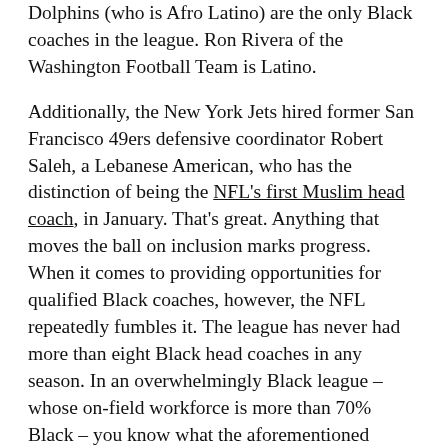Dolphins (who is Afro Latino) are the only Black coaches in the league. Ron Rivera of the Washington Football Team is Latino.
Additionally, the New York Jets hired former San Francisco 49ers defensive coordinator Robert Saleh, a Lebanese American, who has the distinction of being the NFL's first Muslim head coach, in January. That's great. Anything that moves the ball on inclusion marks progress. When it comes to providing opportunities for qualified Black coaches, however, the NFL repeatedly fumbles it. The league has never had more than eight Black head coaches in any season. In an overwhelmingly Black league – whose on-field workforce is more than 70% Black – you know what the aforementioned numbers are? Unacceptable.
During his annual Super Bowl state-of-the-NFL news conference Thursday, commissioner Roger Goodell